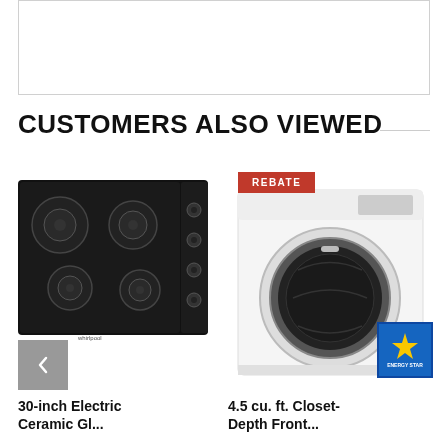[Figure (other): White rectangular image placeholder box with border]
CUSTOMERS ALSO VIEWED
[Figure (photo): 30-inch black electric ceramic glass cooktop with 4 burners and control knobs on the right side]
30-inch Electric Ceramic Gl...
[Figure (photo): 4.5 cu. ft. white front-load washer with REBATE badge and ENERGY STAR certification badge]
4.5 cu. ft. Closet-Depth Front...